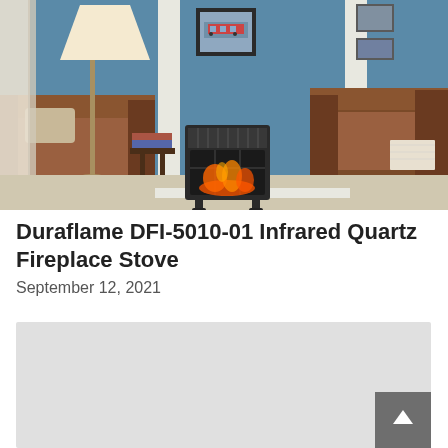[Figure (photo): Living room scene with a Duraflame DFI-5010-01 electric fireplace stove in the center, brown leather armchairs on either side, a lamp, and a blue wall with framed art above the fireplace.]
Duraflame DFI-5010-01 Infrared Quartz Fireplace Stove
September 12, 2021
[Figure (photo): Placeholder / partially visible second product image with light gray background.]